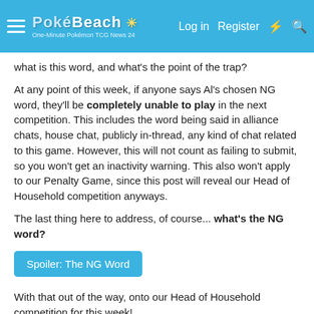PokéBeach - Log in  Register
what is this word, and what's the point of the trap?
At any point of this week, if anyone says Al's chosen NG word, they'll be completely unable to play in the next competition. This includes the word being said in alliance chats, house chat, publicly in-thread, any kind of chat related to this game. However, this will not count as failing to submit, so you won't get an inactivity warning. This also won't apply to our Penalty Game, since this post will reveal our Head of Household competition anyways.
The last thing here to address, of course... what's the NG word?
Spoiler: The NG Word
With that out of the way, onto our Head of Household competition for this week!